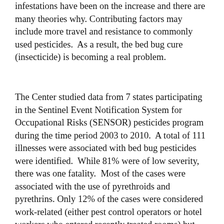infestations have been on the increase and there are many theories why. Contributing factors may include more travel and resistance to commonly used pesticides.  As a result, the bed bug cure (insecticide) is becoming a real problem.
The Center studied data from 7 states participating in the Sentinel Event Notification System for Occupational Risks (SENSOR) pesticides program during the time period 2003 to 2010.  A total of 111 illnesses were associated with bed bug pesticides were identified.  While 81% were of low severity, there was one fatality.  Most of the cases were associated with the use of pyrethroids and pyrethrins. Only 12% of the cases were considered work-related (either pest control operators or hotel workers who entered recently treated rooms) but interestingly included 2 emergency medical technicians who responded to a treated scene.  The remainder fell mostly in the categories of people who